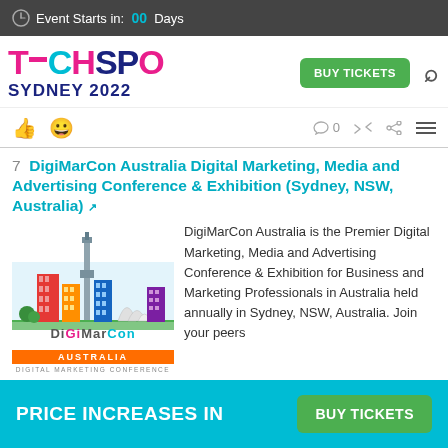Event Starts in: 00 Days
[Figure (logo): TECHSPO Sydney 2022 logo with BUY TICKETS button and search icon]
[Figure (infographic): Social sharing bar with like, smiley, comment count 0, retweet, share icons and hamburger menu]
7  DigiMarCon Australia Digital Marketing, Media and Advertising Conference & Exhibition (Sydney, NSW, Australia) ↗
[Figure (logo): DigiMarCon Australia Digital Marketing Conference logo with Sydney skyline illustration]
DigiMarCon Australia is the Premier Digital Marketing, Media and Advertising Conference & Exhibition for Business and Marketing Professionals in Australia held annually in Sydney, NSW, Australia. Join your peers
PRICE INCREASES IN   BUY TICKETS